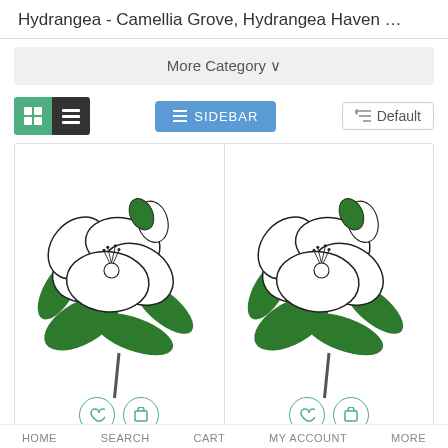Hydrangea - Camellia Grove, Hydrangea Haven …
More Category ∨
SIDEBAR
Default
[Figure (illustration): Two identical botanical illustrations of Hydrangea/Camellia flowers with white petals and dark green leaves, arranged side by side in a product grid]
HOME   SEARCH   CART   MY ACCOUNT   MORE